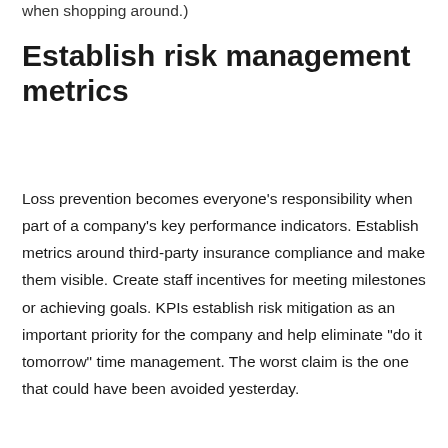when shopping around.)
Establish risk management metrics
Loss prevention becomes everyone’s responsibility when part of a company’s key performance indicators. Establish metrics around third-party insurance compliance and make them visible. Create staff incentives for meeting milestones or achieving goals. KPIs establish risk mitigation as an important priority for the company and help eliminate “do it tomorrow” time management. The worst claim is the one that could have been avoided yesterday.